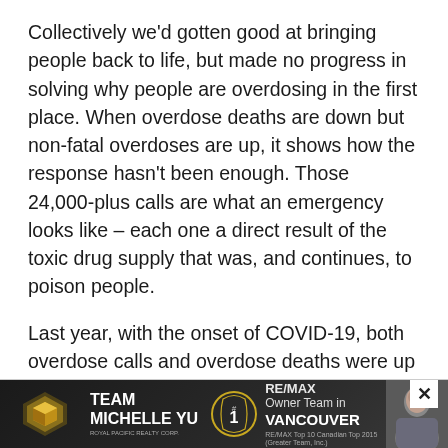Collectively we'd gotten good at bringing people back to life, but made no progress in solving why people are overdosing in the first place. When overdose deaths are down but non-fatal overdoses are up, it shows how the response hasn't been enough. Those 24,000-plus calls are what an emergency looks like – each one a direct result of the toxic drug supply that was, and continues, to poison people.
Last year, with the onset of COVID-19, both overdose calls and overdose deaths were up across the province. This pandemic has proven that the progress that had been made was fragile and that we will always be behind the black market and organized crime that controls the drug supply with ruthless efficiency.
[Figure (screenshot): Advertisement banner for Team Michelle Yu, RE/MAX Owner Team in Vancouver, featuring a gold cube logo, a circular #1 badge, and a photo of a woman.]